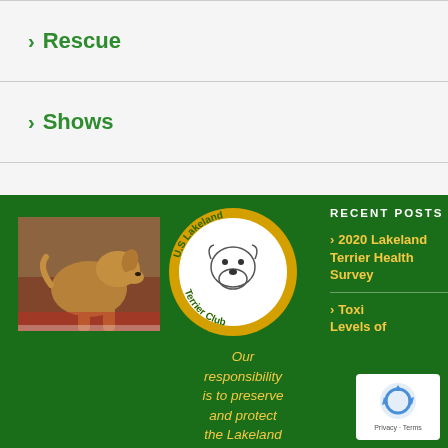> Rescue
> Shows
[Figure (photo): Lakeland Terrier dog standing, brown/tan coat, show pose]
[Figure (logo): US Lakeland Terrier Club circular logo with yellow/gold background and dog illustration in center]
Our responsibility is to preserve and protect the Lakeland
RECENT POSTS
> 2020 Lakeland Terrier Health Survey
> Toxic Levels of